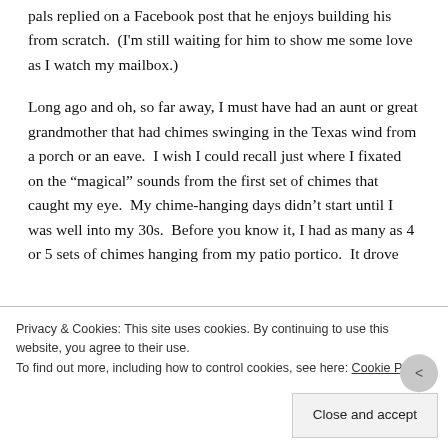pals replied on a Facebook post that he enjoys building his from scratch.  (I'm still waiting for him to show me some love as I watch my mailbox.)

Long ago and oh, so far away, I must have had an aunt or great grandmother that had chimes swinging in the Texas wind from a porch or an eave.  I wish I could recall just where I fixated on the “magical” sounds from the first set of chimes that caught my eye.  My chime-hanging days didn’t start until I was well into my 30s.  Before you know it, I had as many as 4 or 5 sets of chimes hanging from my patio portico.  It drove Wolf... great Dane... When the Texas...
Privacy & Cookies: This site uses cookies. By continuing to use this website, you agree to their use.
To find out more, including how to control cookies, see here: Cookie Policy
Close and accept